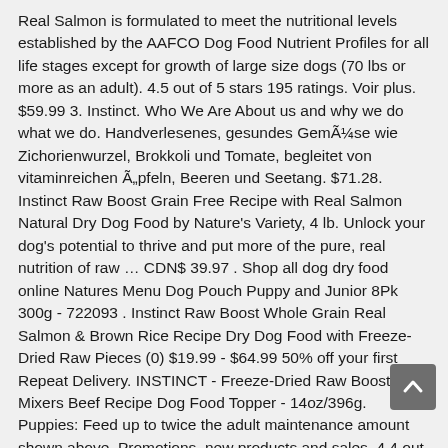Real Salmon is formulated to meet the nutritional levels established by the AAFCO Dog Food Nutrient Profiles for all life stages except for growth of large size dogs (70 lbs or more as an adult). 4.5 out of 5 stars 195 ratings. Voir plus. $59.99 3. Instinct. Who We Are About us and why we do what we do. Handverlesenes, gesundes GemÃ¼se wie Zichorienwurzel, Brokkoli und Tomate, begleitet von vitaminreichen Ã„pfeln, Beeren und Seetang. $71.28. Instinct Raw Boost Grain Free Recipe with Real Salmon Natural Dry Dog Food by Nature's Variety, 4 lb. Unlock your dog's potential to thrive and put more of the pure, real nutrition of raw … CDN$ 39.97 . Shop all dog dry food online Natures Menu Dog Pouch Puppy and Junior 8Pk 300g - 722093 . Instinct Raw Boost Whole Grain Real Salmon & Brown Rice Recipe Dry Dog Food with Freeze-Dried Raw Pieces (0) $19.99 - $64.99 50% off your first Repeat Delivery. INSTINCT - Freeze-Dried Raw Boost Mixers Beef Recipe Dog Food Topper - 14oz/396g. Puppies: Feed up to twice the adult maintenance amount shown above. Promotions, new products and sales. 4.4 out of 5 stars 1,212 ratings. £16.82 +